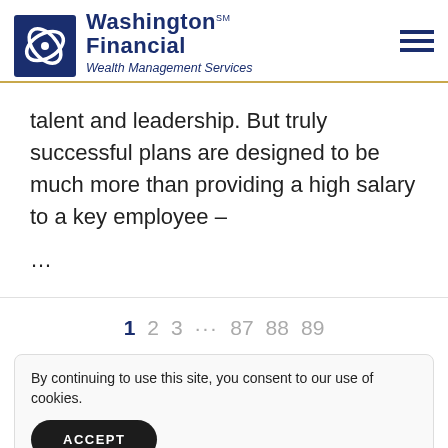Washington Financial℠ Wealth Management Services
talent and leadership. But truly successful plans are designed to be much more than providing a high salary to a key employee – …
1 2 3 … 87 88 89
By continuing to use this site, you consent to our use of cookies.